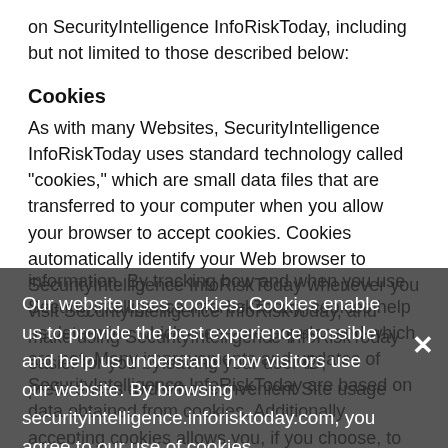on SecurityIntelligence InfoRiskToday, including but not limited to those described below:
Cookies
As with many Websites, SecurityIntelligence InfoRiskToday uses standard technology called "cookies," which are small data files that are transferred to your computer when you allow your browser to accept cookies. Cookies automatically identify your Web browser to SecurityIntelligence InfoRiskToday whenever you visit SecurityIntelligence InfoRiskToday, and make using SecurityIntelligence InfoRiskToday easier for you by saving your user ID, preferences and other convenient Site usage information. By tracking how and when you use SecurityIntelligence InfoRiskToday, cookies help us determine which areas are popular and which are not. Many improvements and updates of SecurityIntelligence InfoRiskToday are based on data obtained from cookies. Additionally, accepting cookies allows you, if you choose, to personalize your experience on SecurityIntelligence InfoRiskToday. Cookies may also allow SecurityIntelligence InfoRiskToday to present to you advertising which may be of interest to you as well as limit how often you
Our website uses cookies. Cookies enable us to provide the best experience possible and help us understand how visitors use our website. By browsing securityintelligence.inforisktoday.com, you agree to our use of cookies.